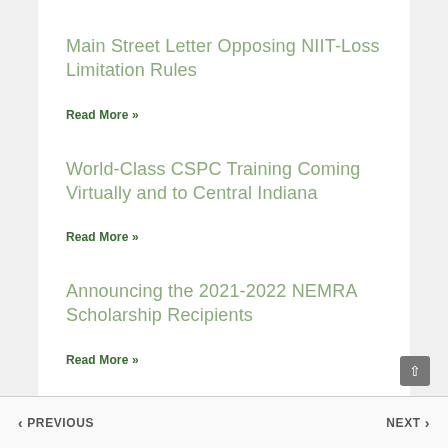Main Street Letter Opposing NIIT-Loss Limitation Rules
Read More »
World-Class CSPC Training Coming Virtually and to Central Indiana
Read More »
Announcing the 2021-2022 NEMRA Scholarship Recipients
Read More »
< PREVIOUS   NEXT >